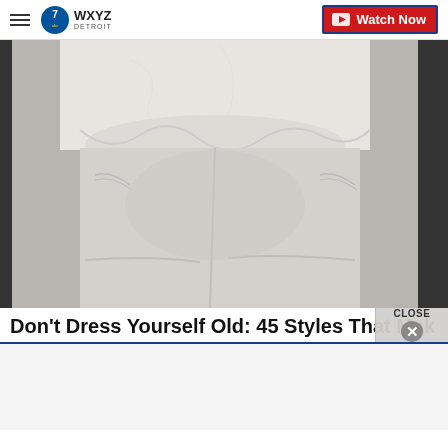WXYZ Detroit — Watch Now
[Figure (photo): Back view of a person wearing tight white jeans and a white top]
Don't Dress Yourself Old: 45 Styles That Mak
[Figure (other): Advertisement banner area with CLOSE button overlay]